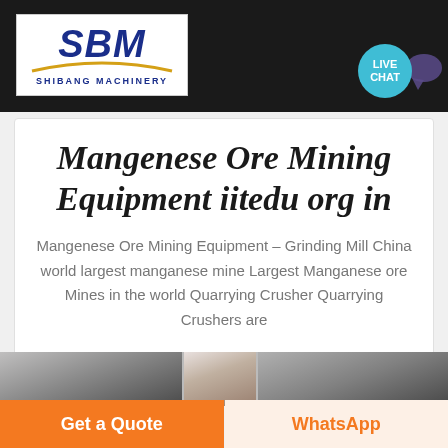[Figure (logo): SBM Shibang Machinery logo — white box with blue bold italic SBM letters, gold arc underneath, text SHIBANG MACHINERY below]
[Figure (illustration): Live Chat speech bubble icon in teal/cyan color with dark purple chat bubble beside it]
Mangenese Ore Mining Equipment iitedu org in
Mangenese Ore Mining Equipment – Grinding Mill China world largest manganese mine Largest Manganese ore Mines in the world Quarrying Crusher Quarrying Crushers are
[Figure (photo): Photo strip showing industrial mining/milling equipment machinery in grayscale]
Get a Quote
WhatsApp